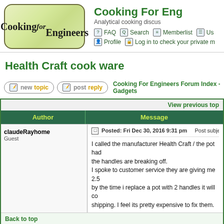[Figure (logo): Cooking for Engineers logo - rounded rectangle with light green gradient background, text 'Cooking for Engineers' in serif font]
Cooking For Engineers
Analytical cooking discus
FAQ  Search  Memberlist  Us  Profile  Log in to check your private m
Health Craft cook ware
newtopic  postreply  Cooking For Engineers Forum Index -> Tools, Gadgets
| Author | Message |
| --- | --- |
| claudeRayhome
Guest | Posted: Fri Dec 30, 2016 9:31 pm  Post subject: Health ware

I called the manufacturer Health Craft / the pot had the handles are breaking off.
I spoke to customer service they are giving me 2.5 by the time i replace a pot with 2 handles it will co shipping. I feel its pretty expensive to fix them. |
Back to top